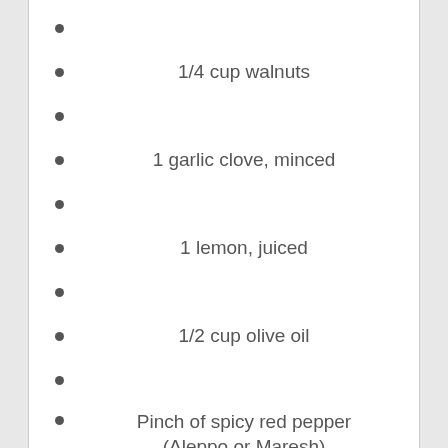1/4 cup walnuts
1 garlic clove, minced
1 lemon, juiced
1/2 cup olive oil
Pinch of spicy red pepper (Aleppo or Maresh)
Salt
Garnish